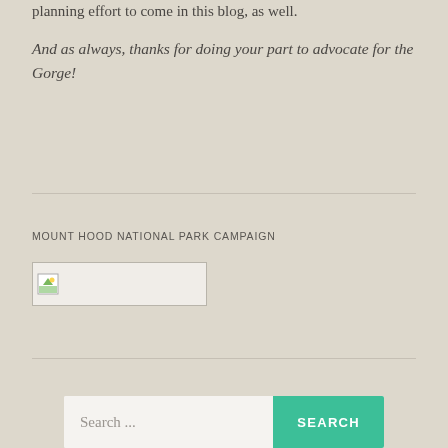planning effort to come in this blog, as well.
And as always, thanks for doing your part to advocate for the Gorge!
MOUNT HOOD NATIONAL PARK CAMPAIGN
[Figure (illustration): Broken image placeholder icon representing the Mount Hood National Park Campaign logo]
Search ...